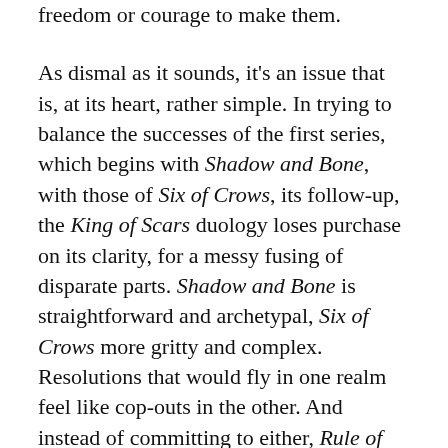…and trying with it a will within the freedom or courage to make them.
As dismal as it sounds, it's an issue that is, at its heart, rather simple. In trying to balance the successes of the first series, which begins with Shadow and Bone, with those of Six of Crows, its follow-up, the King of Scars duology loses purchase on its clarity, for a messy fusing of disparate parts. Shadow and Bone is straightforward and archetypal, Six of Crows more gritty and complex. Resolutions that would fly in one realm feel like cop-outs in the other. And instead of committing to either, Rule of Wolves so badly wants the benefits of both that it strains itself to bridge them, and in the process, forfeits an identity of its own.